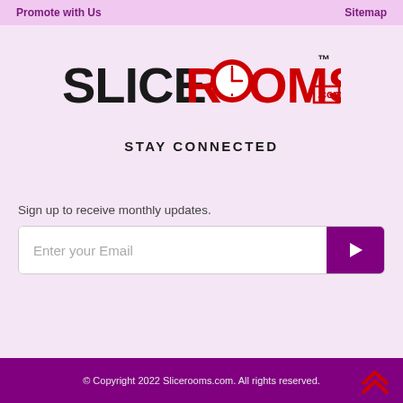Promote with Us   Sitemap
[Figure (logo): SliceRooms.com logo with clock icon inside the letter O in ROOMS, with TM mark]
STAY CONNECTED
Sign up to receive monthly updates.
[Figure (screenshot): Email input field with placeholder 'Enter your Email' and a purple submit button with right arrow]
© Copyright 2022 Slicerooms.com. All rights reserved.